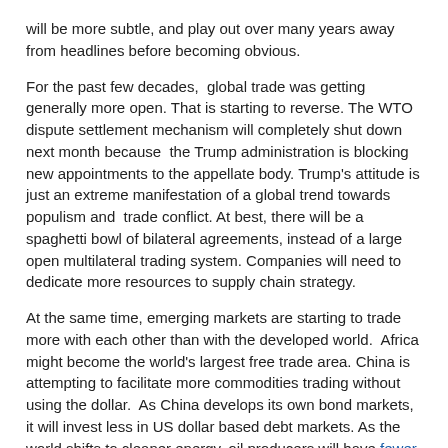will be more subtle, and play out over many years away from headlines before becoming obvious.
For the past few decades, global trade was getting generally more open. That is starting to reverse. The WTO dispute settlement mechanism will completely shut down next month because the Trump administration is blocking new appointments to the appellate body. Trump's attitude is just an extreme manifestation of a global trend towards populism and trade conflict. At best, there will be a spaghetti bowl of bilateral agreements, instead of a large open multilateral trading system. Companies will need to dedicate more resources to supply chain strategy.
At the same time, emerging markets are starting to trade more with each other than with the developed world. Africa might become the world's largest free trade area. China is attempting to facilitate more commodities trading without using the dollar. As China develops its own bond markets, it will invest less in US dollar based debt markets. As the world shifts to cleaner energy, oil producers will have fewer dollars to recycle into US capital markets. The relative importance of the US dollar and of major US companies is likely to decline.